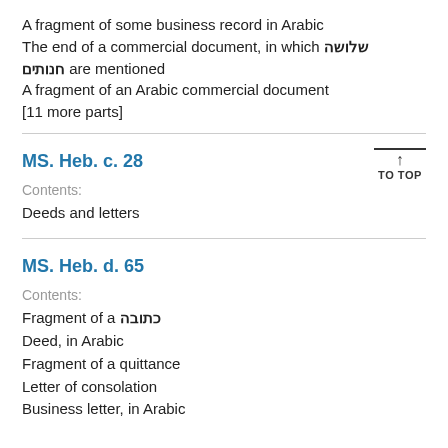A fragment of some business record in Arabic
The end of a commercial document, in which שלושה חנותים are mentioned
A fragment of an Arabic commercial document
[11 more parts]
MS. Heb. c. 28
Contents:
Deeds and letters
MS. Heb. d. 65
Contents:
Fragment of a כתובה
Deed, in Arabic
Fragment of a quittance
Letter of consolation
Business letter, in Arabic